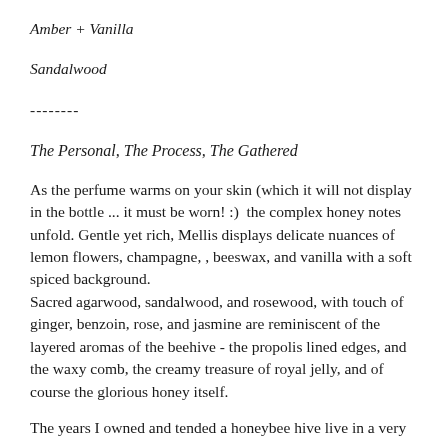Amber + Vanilla
Sandalwood
--------
The Personal, The Process, The Gathered
As the perfume warms on your skin (which it will not display in the bottle ... it must be worn! :)  the complex honey notes unfold. Gentle yet rich, Mellis displays delicate nuances of lemon flowers, champagne, , beeswax, and vanilla with a soft spiced background.
Sacred agarwood, sandalwood, and rosewood, with touch of ginger, benzoin, rose, and jasmine are reminiscent of the layered aromas of the beehive - the propolis lined edges, and the waxy comb, the creamy treasure of royal jelly, and of course the glorious honey itself.
The years I owned and tended a honeybee hive live in a very